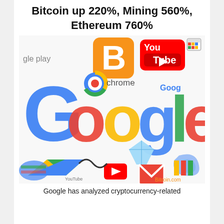Bitcoin up 220%, Mining 560%, Ethereum 760%
[Figure (photo): Collage of Google and other tech/app logos including Bitcoin, YouTube, Chrome, Google Drive, Gmail, and other colorful app icons on a white background. Watermark: Bitcoin.com]
Google has analyzed cryptocurrency-related